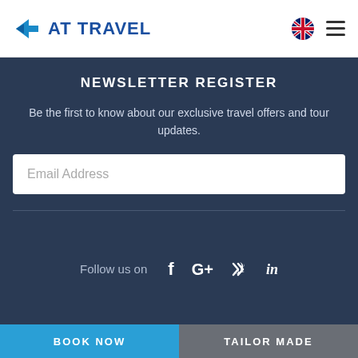AT TRAVEL
NEWSLETTER REGISTER
Be the first to know about our exclusive travel offers and tour updates.
Email Address
Follow us on
BOOK NOW | TAILOR MADE